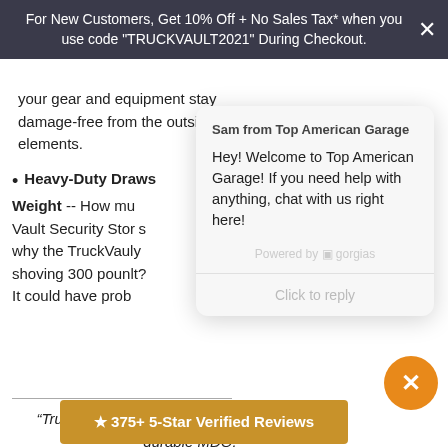For New Customers, Get 10% Off + No Sales Tax* when you use code "TRUCKVAULT2021" During Checkout.
your gear and equipment stay damage-free from the outside elements.
Heavy-Duty Draw Weight -- How mu... Vault Security Stor... why the TruckVault... shoving 300 pound... It could have prob...
“Truckvault’s products are made from strong & durable MDO. The superior choice over leading competitor’s metal, and plastic products”
[Figure (screenshot): Chat popup from Sam at Top American Garage welcoming visitors and offering help.]
★ 375+ 5-Star Verified Reviews